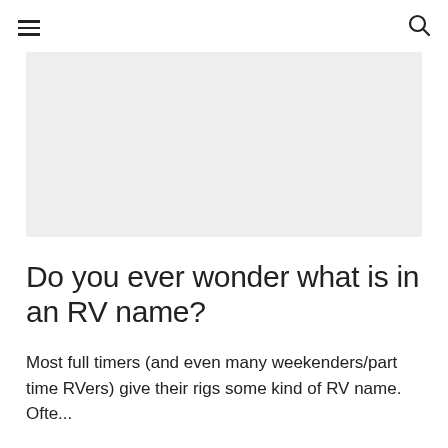≡  🔍
[Figure (other): Gray placeholder image rectangle]
Do you ever wonder what is in an RV name?
Most full timers (and even many weekenders/part time RVers) give their rigs some kind of RV name. Ofte...